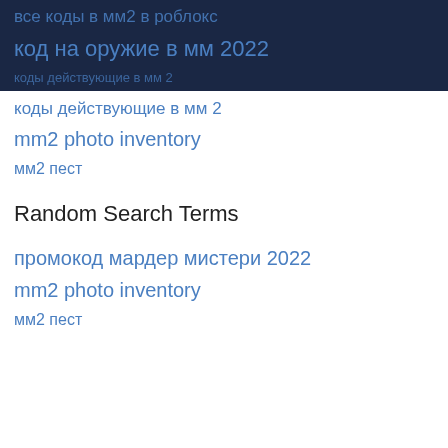все коды в мм2 в роблокс
код на оружие в мм 2022
коды действующие в мм 2
mm2 photo inventory
мм2 пест
Random Search Terms
промокод мардер мистери 2022
mm2 photo inventory
мм2 пест